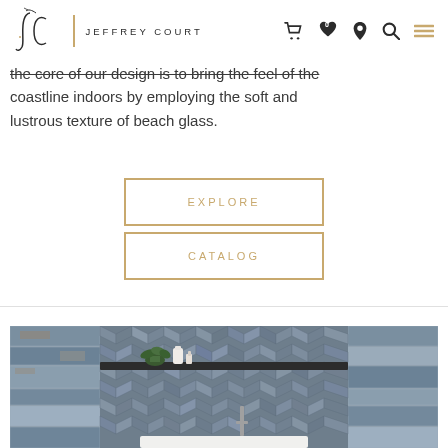Jeffrey Court
the core of our design is to bring the feel of the coastline indoors by employing the soft and lustrous texture of beach glass.
EXPLORE
CATALOG
[Figure (photo): Bathroom interior with herringbone mosaic tile backsplash in blue-grey tones and large format tiles on the sides, with a shelf holding plants and decorative items]